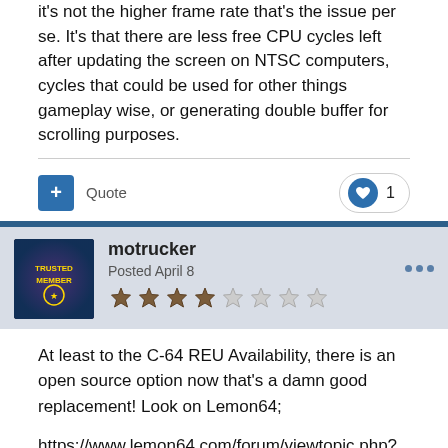it's not the higher frame rate that's the issue per se. It's that there are less free CPU cycles left after updating the screen on NTSC computers, cycles that could be used for other things gameplay wise, or generating double buffer for scrolling purposes.
Quote  1
motrucker
Posted April 8
At least to the C-64 REU Availability, there is an open source option now that's a damn good replacement! Look on Lemon64;
https://www.lemon64.com/forum/viewtopic.php?t=77209